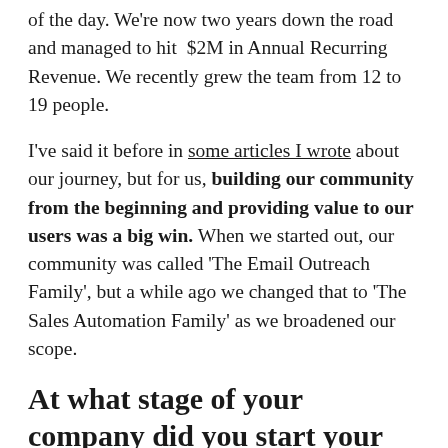of the day. We're now two years down the road and managed to hit $2M in Annual Recurring Revenue. We recently grew the team from 12 to 19 people.
I've said it before in some articles I wrote about our journey, but for us, building our community from the beginning and providing value to our users was a big win. When we started out, our community was called 'The Email Outreach Family', but a while ago we changed that to 'The Sales Automation Family' as we broadened our scope.
At what stage of your company did you start your online community and why?
We launched the first version of our product at all...